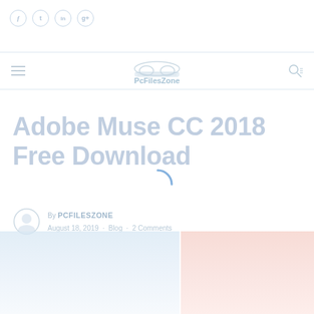[Figure (screenshot): Website screenshot of PcFilesZone showing Adobe Muse CC 2018 Free Download page. Faded/watermarked appearance with social icons, navigation bar with logo, page title, loading spinner, author information, and bottom image thumbnails.]
Adobe Muse CC 2018 Free Download
By PCFILESZONE · August 18, 2019 · Blog · 2 Comments